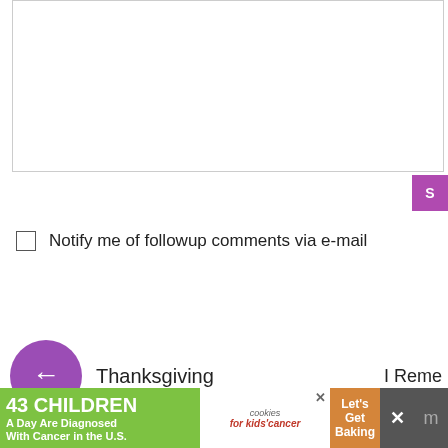[Figure (screenshot): Empty textarea input field with border]
[Figure (screenshot): Purple submit button partially visible on right edge]
Notify me of followup comments via e-mail
[Figure (screenshot): Navigation previous post: purple circle with left arrow and label 'Thanksgiving'; next post label 'I Reme...' on right]
[Figure (screenshot): Green decorative band with dot pattern]
About
Archives
Disclosure
Contact
Photography
Newborn Identity
Hair Dos & How Tos
How To Cook
Babble
Momm...
Women...
BuzzFe...
[Figure (screenshot): Advertisement banner: '43 CHILDREN A Day Are Diagnosed With Cancer in the U.S.' with cookies for kids cancer and Let's Get Baking]